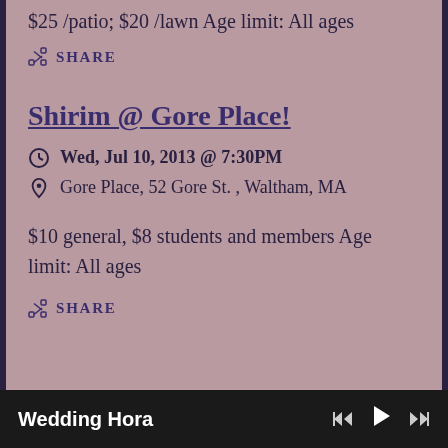$25 /patio; $20 /lawn Age limit: All ages
SHARE
Shirim @ Gore Place!
Wed, Jul 10, 2013 @ 7:30PM
Gore Place, 52 Gore St. , Waltham, MA
$10 general, $8 students and members Age limit: All ages
SHARE
Wedding Hora